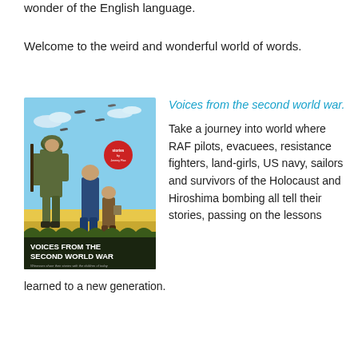wonder of the English language.
Welcome to the weird and wonderful world of words.
[Figure (illustration): Book cover of 'Voices from the Second World War' showing a WWII soldier, a woman, and a child walking through a field with aircraft in the sky above. The cover has bold text at the bottom reading 'VOICES FROM THE SECOND WORLD WAR' with subtitle 'Witnesses share their stories with the children of today'.]
Voices from the second world war.
Take a journey into world where RAF pilots, evacuees, resistance fighters, land-girls, US navy, sailors and survivors of the Holocaust and Hiroshima bombing all tell their stories, passing on the lessons learned to a new generation.